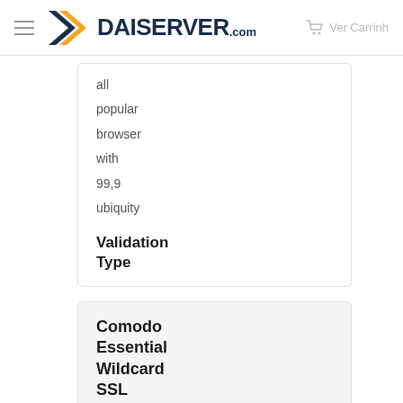DAISERVER.com — Ver Carrinh
all
popular
browser
with
99,9
ubiquity
Validation Type
Comodo Essential Wildcard SSL